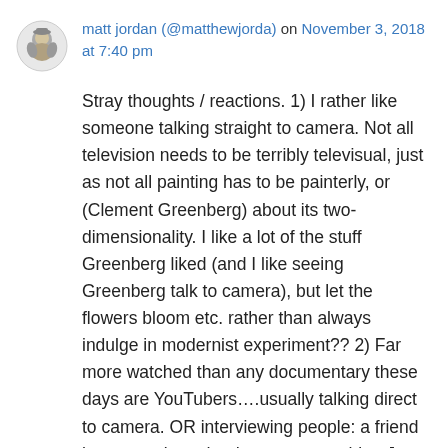matt jordan (@matthewjorda) on November 3, 2018 at 7:40 pm
Stray thoughts / reactions. 1) I rather like someone talking straight to camera. Not all television needs to be terribly televisual, just as not all painting has to be painterly, or (Clement Greenberg) about its two-dimensionality. I like a lot of the stuff Greenberg liked (and I like seeing Greenberg talk to camera), but let the flowers bloom etc. rather than always indulge in modernist experiment?? 2) Far more watched than any documentary these days are YouTubers….usually talking direct to camera. OR interviewing people: a friend has recently nudged me onto watching Joe Rogan (so far I've seen an hour or two with Chuck Palahniuk